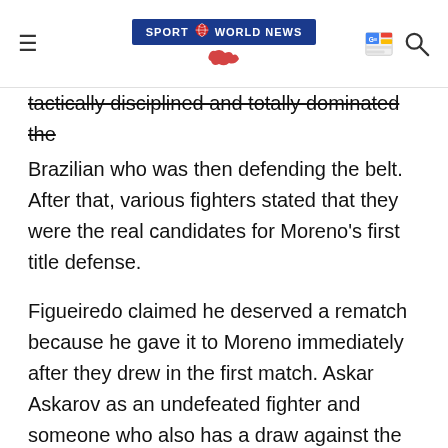SPORT WORLD NEWS
tactically disciplined and totally dominated the Brazilian who was then defending the belt. After that, various fighters stated that they were the real candidates for Moreno's first title defense.
Figueiredo claimed he deserved a rematch because he gave it to Moreno immediately after they drew in the first match. Askar Askarov as an undefeated fighter and someone who also has a draw against the Mexican also seemed like a good option, but an injury took him away from the planned match against Alex Perez in the seventh month of this year.